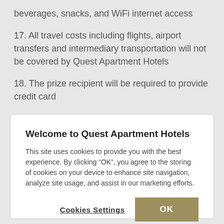beverages, snacks, and WiFi internet access
17. All travel costs including flights, airport transfers and intermediary transportation will not be covered by Quest Apartment Hotels
18. The prize recipient will be required to provide credit card
Welcome to Quest Apartment Hotels
This site uses cookies to provide you with the best experience. By clicking “OK”, you agree to the storing of cookies on your device to enhance site navigation, analyze site usage, and assist in our marketing efforts.
Cookies Settings   OK
with a reception officer before arrival. To check-in, a driver’s